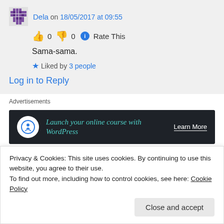Dela on 18/05/2017 at 09:55
👍 0 👎 0 ℹ Rate This
Sama-sama.
★ Liked by 3 people
Log in to Reply
Advertisements
[Figure (other): Dark advertisement banner: Launch your online course with WordPress — Learn More]
Privacy & Cookies: This site uses cookies. By continuing to use this website, you agree to their use. To find out more, including how to control cookies, see here: Cookie Policy
Close and accept